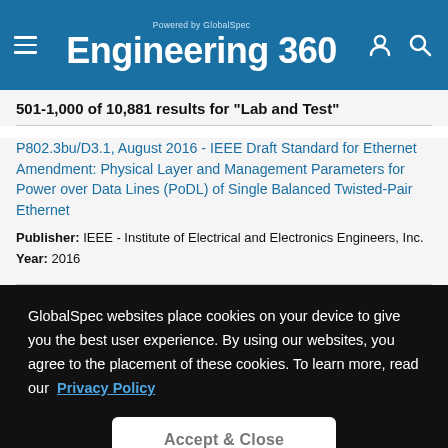Powered by GlobalSpec Engineering 360
501-1,000 of 10,881 results for "Lab and Test"
P802.3bu/D3.1, August 2016 - IEEE Draft Standard for Ethernet Amendment: Physical Layer and Management Parameters for Power over Data Lines (PoDL) of Single Balanced Twisted-Pair Ethernet
Publisher: IEEE - Institute of Electrical and Electronics Engineers, Inc.
Year: 2016
GlobalSpec websites place cookies on your device to give you the best user experience. By using our websites, you agree to the placement of these cookies. To learn more, read our Privacy Policy
Accept & Close